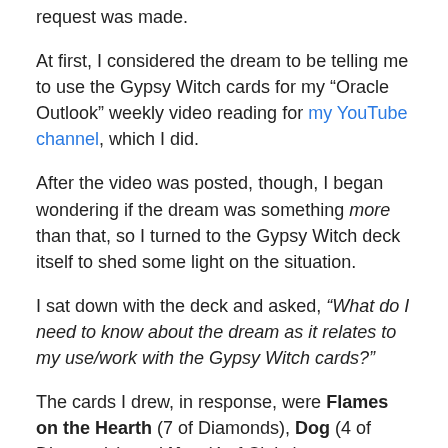request was made.
At first, I considered the dream to be telling me to use the Gypsy Witch cards for my “Oracle Outlook” weekly video reading for my YouTube channel, which I did.
After the video was posted, though, I began wondering if the dream was something more than that, so I turned to the Gypsy Witch deck itself to shed some light on the situation.
I sat down with the deck and asked, “What do I need to know about the dream as it relates to my use/work with the Gypsy Witch cards?”
The cards I drew, in response, were Flames on the Hearth (7 of Diamonds), Dog (4 of Diamonds), and Key (4 of Clubs).